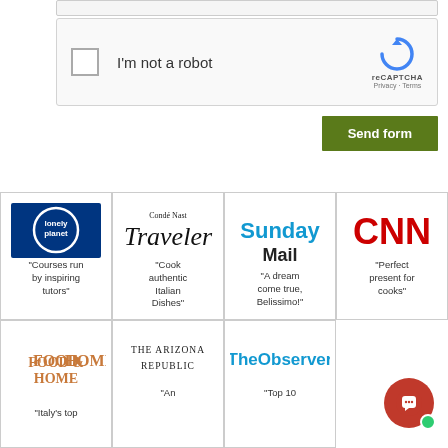[Figure (screenshot): reCAPTCHA widget with checkbox labeled I'm not a robot]
Send form
[Figure (logo): Lonely Planet logo - white circle with lonely planet text on blue background]
"Courses run by inspiring tutors"
[Figure (logo): Condé Nast Traveler logo]
"Cook authentic Italian Dishes"
[Figure (logo): Sunday Mail logo]
"A dream come true, Belissimo!"
[Figure (logo): CNN logo in red]
"Perfect present for cooks"
[Figure (logo): Food & Home logo]
"Italy's top
[Figure (logo): The Arizona Republic logo]
"An
[Figure (logo): The Observer logo in blue]
"Top 10